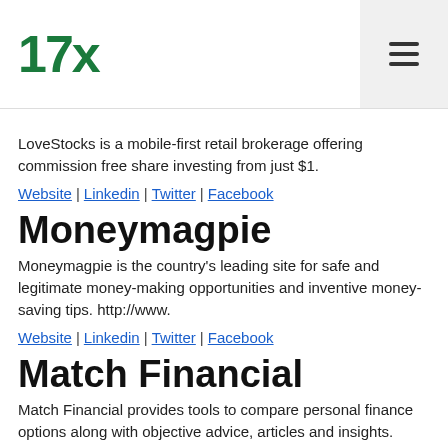17x
LoveStocks is a mobile-first retail brokerage offering commission free share investing from just $1.
Website | Linkedin | Twitter | Facebook
Moneymagpie
Moneymagpie is the country’s leading site for safe and legitimate money-making opportunities and inventive money-saving tips. http://www.
Website | Linkedin | Twitter | Facebook
Match Financial
Match Financial provides tools to compare personal finance options along with objective advice, articles and insights.
Website | Linkedin | Twitter | Facebook